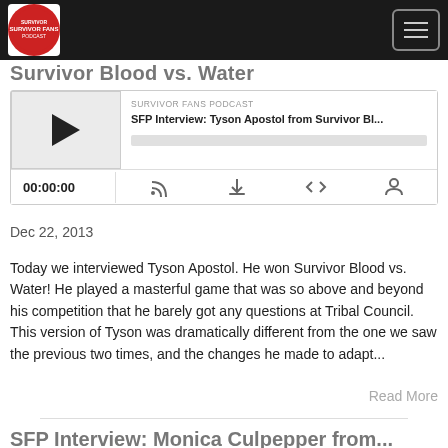Survivor Fans Podcast
Survivor Blood vs. Water
[Figure (screenshot): Podcast player widget showing 'SFP Interview: Tyson Apostol from Survivor Bl...' with play button, timestamp 00:00:00, and control icons]
Dec 22, 2013
Today we interviewed Tyson Apostol. He won Survivor Blood vs. Water! He played a masterful game that was so above and beyond his competition that he barely got any questions at Tribal Council. This version of Tyson was dramatically different from the one we saw the previous two times, and the changes he made to adapt...
Read More
SFP Interview: Monica Culpepper from...